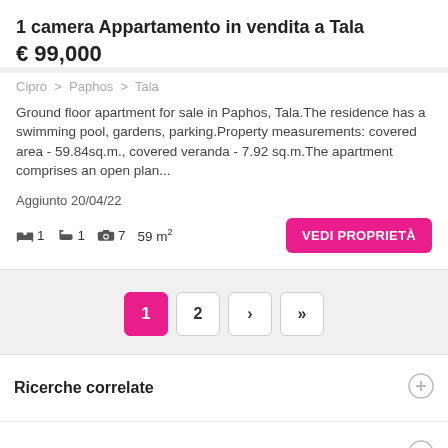1 camera Appartamento in vendita a Tala
€ 99,000
Cipro > Paphos > Tala
Ground floor apartment for sale in Paphos, Tala.The residence has a swimming pool, gardens, parking.Property measurements: covered area - 59.84sq.m., covered veranda - 7.92 sq.m.The apartment comprises an open plan...
Aggiunto 20/04/22
1 bed  1 bath  7 photos  59 m²
VEDI PROPRIETÀ
1  2  ›  »
Ricerche correlate
Entro un prezzo stabilito
Questo sito Web utilizza i cookie. Consentendo ciò, ci aiuterai a migliorare il nostro sito Web e la tua esperienza. Ulteriori informazioni sui cookie.
Sono d'accordo
Segui:   © 2019-2021 Tutti i diritti riservati